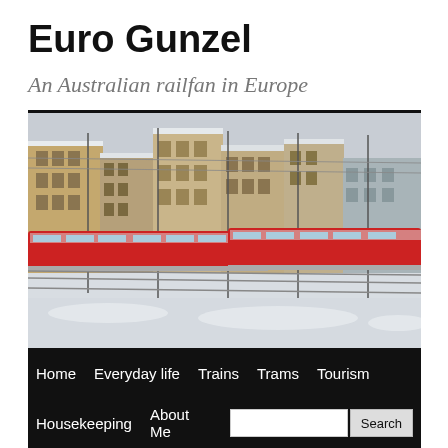Euro Gunzel
An Australian railfan in Europe
[Figure (photo): Red commuter trains at a European rail yard in winter, with snow on the ground and multi-storey buildings in the background]
Home   Everyday life   Trains   Trams   Tourism
Housekeeping   About Me   [Search box]   Search
Tag Archives: winter